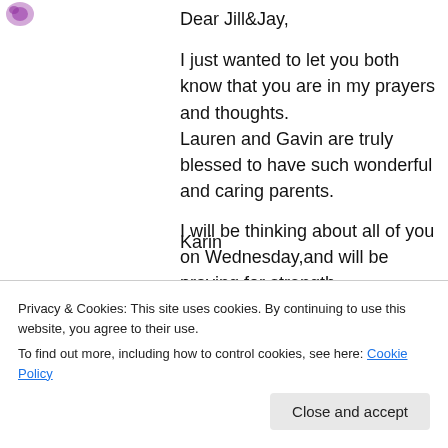[Figure (logo): Small purple/pink decorative logo icon in top left corner]
Dear Jill&Jay,
I just wanted to let you both know that you are in my prayers and thoughts.
Lauren and Gavin are truly blessed to have such wonderful and caring parents.
I will be thinking about all of you on Wednesday,and will be praying for strength.
Jill,I'm so proud of my (little cousin)you truly inspire me.
Karin
Privacy & Cookies: This site uses cookies. By continuing to use this website, you agree to their use.
To find out more, including how to control cookies, see here: Cookie Policy
Close and accept